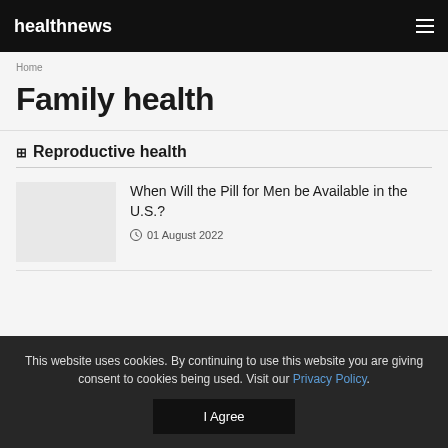healthnews
Home
Family health
Reproductive health
When Will the Pill for Men be Available in the U.S.?
01 August 2022
This website uses cookies. By continuing to use this website you are giving consent to cookies being used. Visit our Privacy Policy.
I Agree